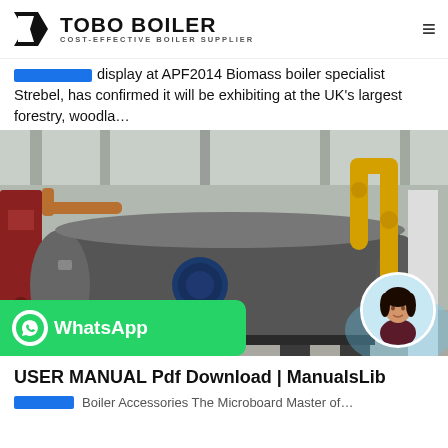TOBO BOILER — COST-EFFECTIVE BOILER SUPPLIER
display at APF2014 Biomass boiler specialist Strebel, has confirmed it will be exhibiting at the UK's largest forestry, woodla…
[Figure (photo): Industrial boiler in a factory setting, large horizontal cylindrical body with blue motor attachment, yellow piping on right side, red tank on left. WhatsApp contact button overlay in bottom-left corner, circular avatar photo of a woman in bottom-right area.]
USER MANUAL Pdf Download | ManualsLib
Boiler Accessories The Microboard Master of...